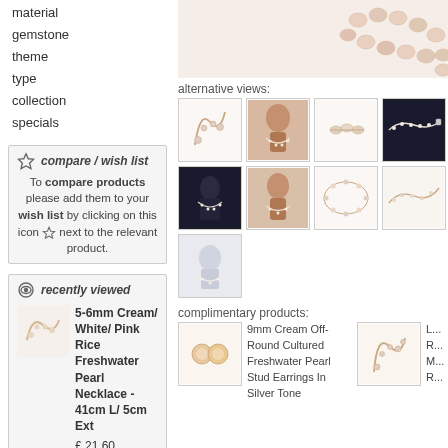material
gemstone
theme
type
collection
specials
compare / wish list
To compare products please add them to your wish list by clicking on this icon next to the relevant product.
recently viewed
5-6mm Cream/ White/ Pink Rice Freshwater Pearl Necklace - 41cm L/ 5cm Ext
£ 21.60
view all
[Figure (photo): Hero image of pearl necklace strands close-up, soft pink/cream pearls on white background]
alternative views:
[Figure (photo): Thumbnail 1: Pearl necklace loop on white background]
[Figure (photo): Thumbnail 2: Pearl necklace on mannequin neck]
[Figure (photo): Thumbnail 3: Close-up of pearl necklace clasp area]
[Figure (photo): Thumbnail 4: Pearl necklace with silver clasp on dark background]
[Figure (photo): Thumbnail 5: Pearl necklace on dark bust mannequin]
[Figure (photo): Thumbnail 6: Pearl necklace on mannequin, front view]
[Figure (photo): Thumbnail 7: Pearl necklace oval shape on white]
[Figure (photo): Thumbnail 8: Pearl necklace detail on white]
[Figure (photo): Thumbnail 9: Pearl necklace on blue/white bust]
complimentary products:
9mm Cream Off-Round Cultured Freshwater Pearl Stud Earrings In Silver Tone
[Figure (photo): Complimentary product 1: Round pearl stud earrings]
[Figure (photo): Complimentary product 2: Pearl necklace loop]